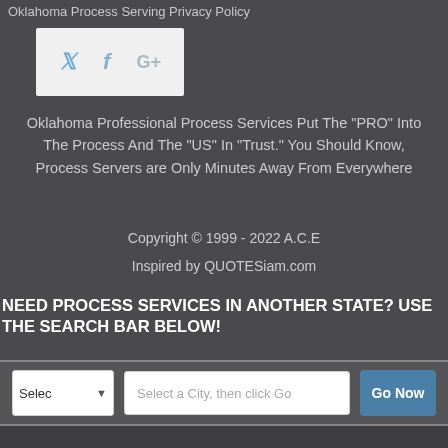Oklahoma Process Serving Privacy Policy
[Figure (other): Social media share buttons: Twitter bird icon, Facebook f icon, Google+ G+ icon on a light grey background]
Oklahoma Professional Process Services Put The "PRO" Into The Process And The "US" In "Trust." You Should Know, Process Servers are Only Minutes Away From Everywhere
Copyright © 1999 - 2022 A.C.E
Inspired by QUOTESiam.com
NEED PROCESS SERVICES IN ANOTHER STATE? USE THE SEARCH BAR BELOW!
[Figure (screenshot): A search bar interface with a state dropdown selector labeled 'Selec', a city text input field labeled 'Select a City, then click Go', and a blue 'Go Now' button]